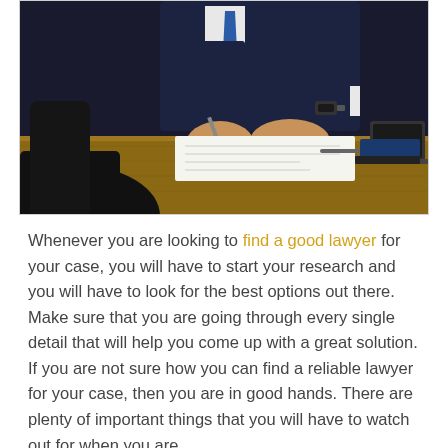[Figure (photo): A person in a dark business suit signing documents at a wooden desk, with a laptop and pen visible nearby. Black office chairs in foreground.]
Whenever you are looking to find a good lawyer for your case, you will have to start your research and you will have to look for the best options out there. Make sure that you are going through every single detail that will help you come up with a great solution. If you are not sure how you can find a reliable lawyer for your case, then you are in good hands. There are plenty of important things that you will have to watch out for when you are